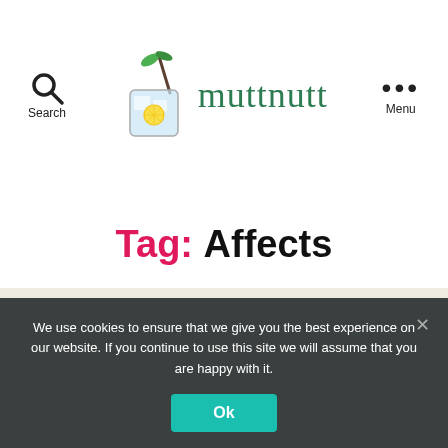Search | muttnutt | Menu
Tag: Affects
JUICE
How Stress Affects the...
We use cookies to ensure that we give you the best experience on our website. If you continue to use this site we will assume that you are happy with it.